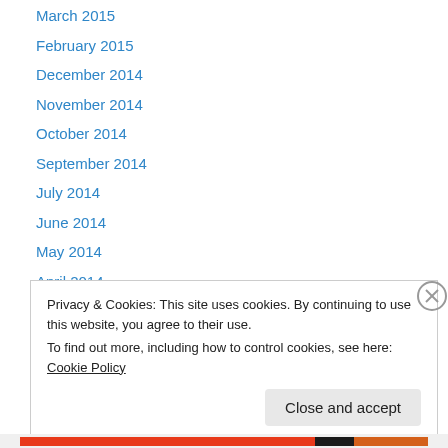March 2015
February 2015
December 2014
November 2014
October 2014
September 2014
July 2014
June 2014
May 2014
April 2014
March 2014
February 2014
January 2014
Privacy & Cookies: This site uses cookies. By continuing to use this website, you agree to their use.
To find out more, including how to control cookies, see here: Cookie Policy
Close and accept